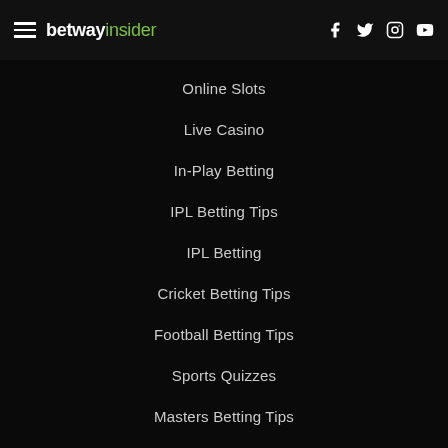betway insider
Online Slots
Live Casino
In-Play Betting
IPL Betting Tips
IPL Betting
Cricket Betting Tips
Football Betting Tips
Sports Quizzes
Masters Betting Tips